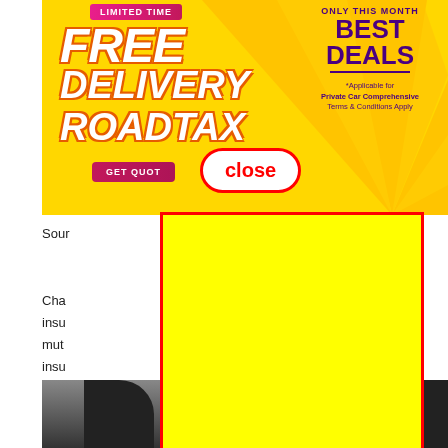[Figure (infographic): Promotional banner ad on yellow background showing FREE DELIVERY ROADTAX with LIMITED TIME offer and ONLY THIS MONTH BEST DEALS text. Applicable for Private Car Comprehensive, Terms & Conditions Apply. GET QUOTE button visible.]
[Figure (other): Close button overlay - white pill-shaped button with red border and red 'close' text]
[Figure (other): Yellow rectangle with red border overlaying page content]
Sour
Cha
ins
mut
ins
[Figure (photo): Bottom portion of image showing vehicle tires/wheels]